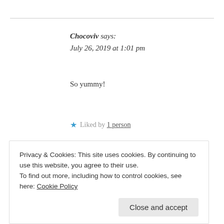Chocoviv says:
July 26, 2019 at 1:01 pm
So yummy!
Liked by 1 person
Reply
Privacy & Cookies: This site uses cookies. By continuing to use this website, you agree to their use.
To find out more, including how to control cookies, see here: Cookie Policy
Close and accept